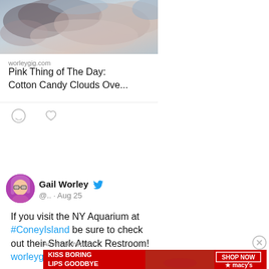[Figure (photo): Clouds photo — pink and grey cotton candy clouds in a blue sky]
worleygig.com
Pink Thing of The Day: Cotton Candy Clouds Ove...
[Figure (illustration): Comment icon (speech bubble outline) and heart/like icon]
[Figure (illustration): Twitter avatar — cartoon woman with pink hair and glasses]
Gail Worley @.. · Aug 25
If you visit the NY Aquarium at #ConeyIsland be sure to check out their Shark Attack Restroom! worleygig.com/2022/08/23/
Advertisements
[Figure (infographic): Macy's advertisement banner: KISS BORING LIPS GOODBYE — SHOP NOW — macy's star logo, dark red background with woman's lips photo]